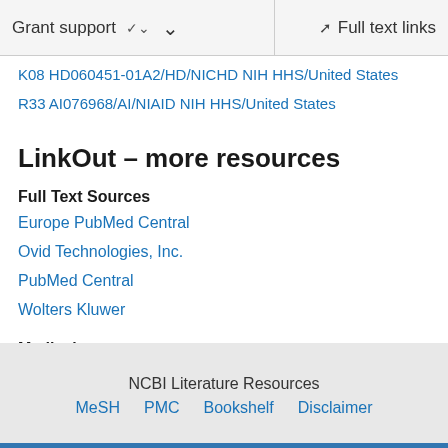Grant support   ∨   Full text links
K08 HD060451-01A2/HD/NICHD NIH HHS/United States
R33 AI076968/AI/NIAID NIH HHS/United States
LinkOut – more resources
Full Text Sources
Europe PubMed Central
Ovid Technologies, Inc.
PubMed Central
Wolters Kluwer
Medical
MedlinePlus Health Information
NCBI Literature Resources   MeSH   PMC   Bookshelf   Disclaimer